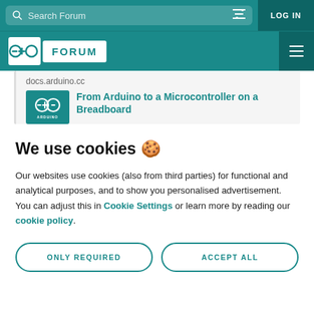Search Forum | LOG IN
Arduino FORUM
docs.arduino.cc
[Figure (logo): Arduino logo with infinity-like symbol and ARDUINO text]
From Arduino to a Microcontroller on a Breadboard
We use cookies 🍪
Our websites use cookies (also from third parties) for functional and analytical purposes, and to show you personalised advertisement. You can adjust this in Cookie Settings or learn more by reading our cookie policy.
ONLY REQUIRED
ACCEPT ALL